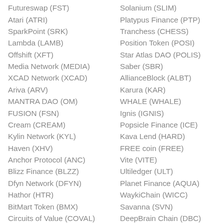Futureswap (FST)
Solanium (SLIM)
Atari (ATRI)
Platypus Finance (PTP)
SparkPoint (SRK)
Tranchess (CHESS)
Lambda (LAMB)
Position Token (POSI)
Offshift (XFT)
Star Atlas DAO (POLIS)
Media Network (MEDIA)
Saber (SBR)
XCAD Network (XCAD)
AllianceBlock (ALBT)
Ariva (ARV)
Karura (KAR)
MANTRA DAO (OM)
WHALE (WHALE)
FUSION (FSN)
Ignis (IGNIS)
Cream (CREAM)
Popsicle Finance (ICE)
Kylin Network (KYL)
Kava Lend (HARD)
Haven (XHV)
FREE coin (FREE)
Anchor Protocol (ANC)
Vite (VITE)
Blizz Finance (BLZZ)
Ultiledger (ULT)
Dfyn Network (DFYN)
Planet Finance (AQUA)
Hathor (HTR)
WaykiChain (WICC)
BitMart Token (BMX)
Savanna (SVN)
Circuits of Value (COVAL)
DeepBrain Chain (DBC)